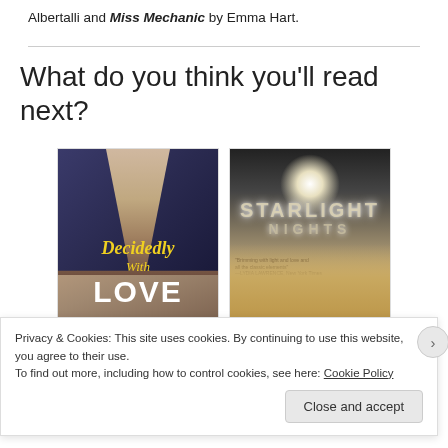Albertalli and Miss Mechanic by Emma Hart.
What do you think you'll read next?
[Figure (photo): Book cover of 'Decidedly With Love' by Stina Lindenblatt, showing a shirtless male torso with blue shirt open, title text in yellow cursive and white bold letters.]
[Figure (photo): Book cover of 'Starlight Nights', showing a glowing light at top and a blonde woman's face in warm golden tones.]
Privacy & Cookies: This site uses cookies. By continuing to use this website, you agree to their use. To find out more, including how to control cookies, see here: Cookie Policy
Close and accept